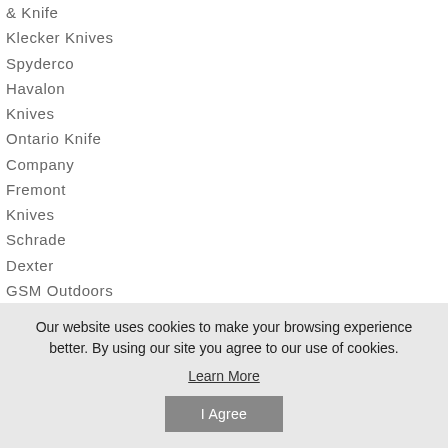& Knife
Klecker Knives
Spyderco
Havalon Knives
Ontario Knife Company
Fremont Knives
Schrade
Dexter
GSM Outdoors
Lansky
Uncle Henry
Our website uses cookies to make your browsing experience better. By using our site you agree to our use of cookies.
Learn More
I Agree